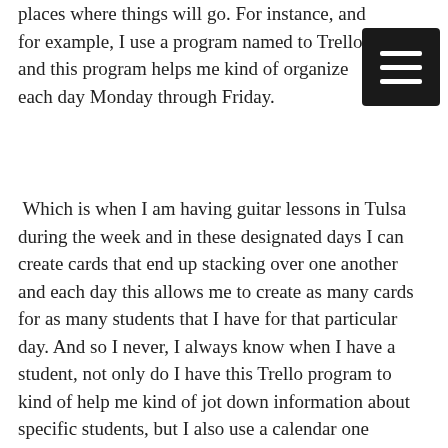places where things will go. For instance, and for example, I use a program named to Trello and this program helps me kind of organize each day Monday through Friday.
Which is when I am having guitar lessons in Tulsa during the week and in these designated days I can create cards that end up stacking over one another and each day this allows me to create as many cards for as many students that I have for that particular day. And so I never, I always know when I have a student, not only do I have this Trello program to kind of help me kind of jot down information about specific students, but I also use a calendar one calendar that my wife and I, we use actually to help us stay organized and know what’s going on. Know what guitar lessons in Tulsa I have planned, no what things she has planned.